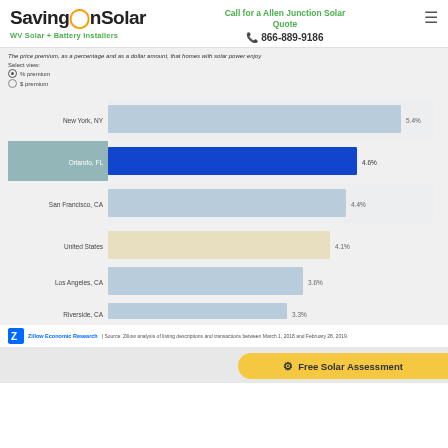SavingOnSolar — WV Solar + Battery Installers | Call for a Allen Junction Solar Quote | 866-889-9186
The price premium, as a percentage and as a dollar amount, that homes with solar power enjoy
Select view:
% premium
$ premium
[Figure (bar-chart): Solar Home Price Premium by City]
Zillow Economic Research | Source: Zillow analysis of listing descriptions and transactions between March 1, 2018 and February 28, 2019.
Free Solar Assessment